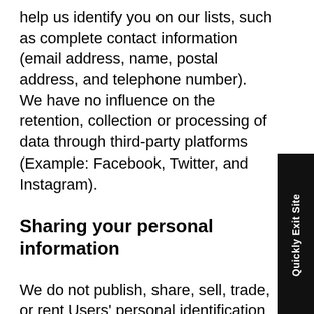help us identify you on our lists, such as complete contact information (email address, name, postal address, and telephone number). We have no influence on the retention, collection or processing of data through third-party platforms (Example: Facebook, Twitter, and Instagram).
Sharing your personal information
We do not publish, share, sell, trade, or rent Users' personal identification information to anyone outside of CCRI. We may disclose your personal